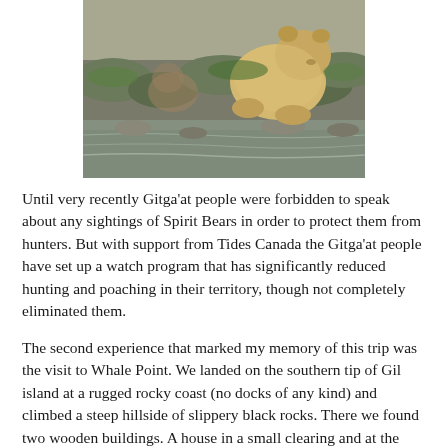[Figure (photo): A light-colored (cream/golden) bear, likely a Spirit Bear, sitting on moss-covered rocks near a stream or river. The bear appears to be feeding or resting among wet, rocky terrain with shallow water visible in the foreground.]
Until very recently Gitga'at people were forbidden to speak about any sightings of Spirit Bears in order to protect them from hunters. But with support from Tides Canada the Gitga'at people have set up a watch program that has significantly reduced hunting and poaching in their territory, though not completely eliminated them.
The second experience that marked my memory of this trip was the visit to Whale Point. We landed on the southern tip of Gil island at a rugged rocky coast (no docks of any kind) and climbed a steep hillside of slippery black rocks. There we found two wooden buildings. A house in a small clearing and at the cliff overlooking the sea, a barrack. It turns out these are the home and workplace for Janie Wray and